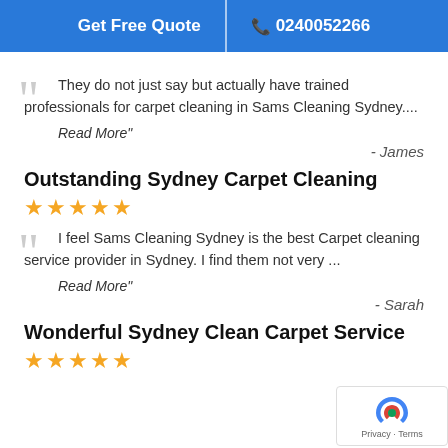Get Free Quote | 0240052266
They do not just say but actually have trained professionals for carpet cleaning in Sams Cleaning Sydney....
Read More"
- James
Outstanding Sydney Carpet Cleaning
★★★★★
I feel Sams Cleaning Sydney is the best Carpet cleaning service provider in Sydney. I find them not very ...
Read More"
- Sarah
Wonderful Sydney Clean Carpet Service
★★★★★